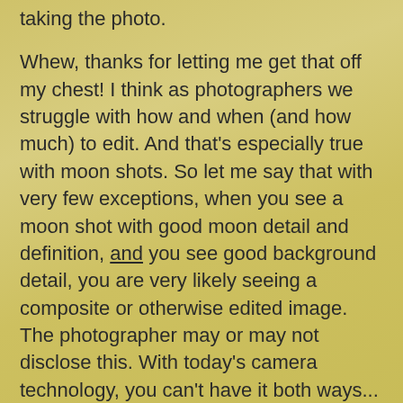taking the photo.
Whew, thanks for letting me get that off my chest! I think as photographers we struggle with how and when (and how much) to edit. And that's especially true with moon shots. So let me say that with very few exceptions, when you see a moon shot with good moon detail and definition, and you see good background detail, you are very likely seeing a composite or otherwise edited image. The photographer may or may not disclose this. With today's camera technology, you can't have it both ways... you need to either expose on the moon or the background, one at the expense of the other. Other options are to use bracketing (which puts you back into composite images), spot adjustment to reduce the moon brightness (works so so) or perhaps flash fill or light painting for long exposures.
So with that being said, you do at least know the t...